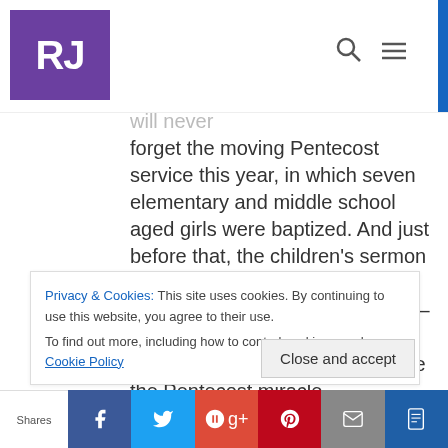RJ (logo)
to become community organizers. Several kids come to worship on Sundays unaccompanied by any adults. I will never forget the moving Pentecost service this year, in which seven elementary and middle school aged girls were baptized. And just before that, the children's sermon in which the M.Div student used bits of the kids' native languages–English, Spanish, Korean, and Cape Verdean creole–to illustrate the Pentecost miracle.
Privacy & Cookies: This site uses cookies. By continuing to use this website, you agree to their use. To find out more, including how to control cookies, see here: Cookie Policy
Close and accept
Shares | Facebook | Twitter | Google+ | Pinterest | Email | Kindle